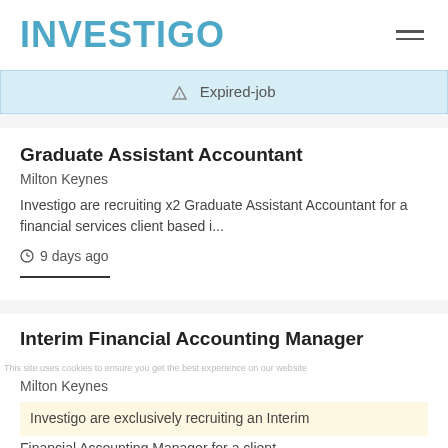INVESTIGO
Expired-job
Graduate Assistant Accountant
Milton Keynes
Investigo are recruiting x2 Graduate Assistant Accountant for a financial services client based i...
9 days ago
Interim Financial Accounting Manager
Milton Keynes
Investigo are exclusively recruiting an Interim Financial Accounting Manager for a client...